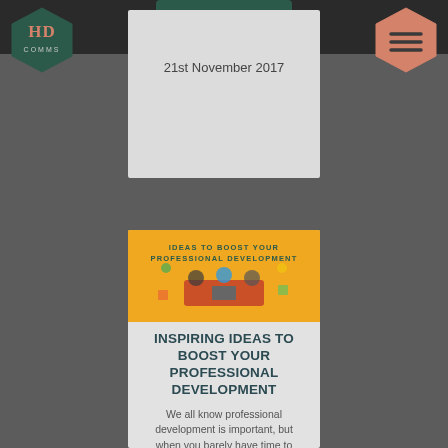[Figure (logo): HD Comms logo in dark teal hexagon shape]
[Figure (other): Hamburger menu icon in salmon/coral hexagon shape]
[Figure (other): READ MORE button (dark teal, partially visible at top)]
21st November 2017
[Figure (illustration): Yellow banner with text 'IDEAS TO BOOST YOUR PROFESSIONAL DEVELOPMENT' and cartoon illustration of people at a meeting table with various professional icons]
INSPIRING IDEAS TO BOOST YOUR PROFESSIONAL DEVELOPMENT
We all know professional development is important, but when you barely have time to make ...
[Figure (other): READ MORE button in dark teal]
8th November 2017